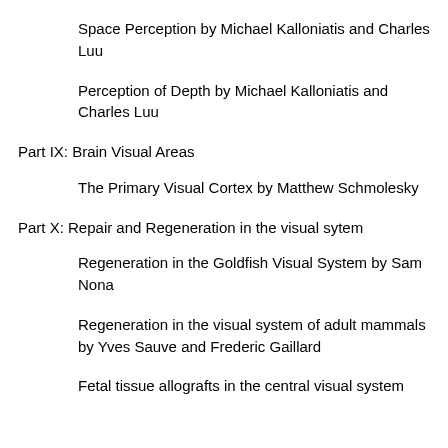Space Perception by Michael Kalloniatis and Charles Luu
Perception of Depth by Michael Kalloniatis and Charles Luu
Part IX: Brain Visual Areas
The Primary Visual Cortex by Matthew Schmolesky
Part X: Repair and Regeneration in the visual sytem
Regeneration in the Goldfish Visual System by Sam Nona
Regeneration in the visual system of adult mammals by Yves Sauve and Frederic Gaillard
Fetal tissue allografts in the central visual system